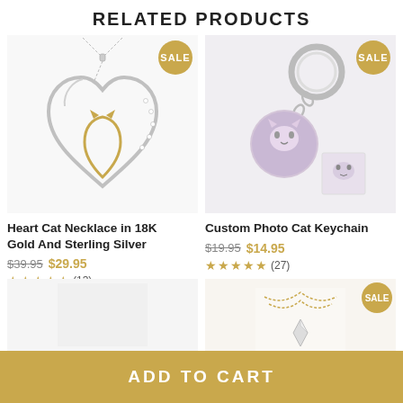RELATED PRODUCTS
[Figure (photo): Heart Cat Necklace in 18K Gold and Sterling Silver - silver heart shaped pendant with gold cat silhouette inside, on a chain]
[Figure (photo): Custom Photo Cat Keychain - circular keychain with cat photo and metal ring, with small inset photo of a cat]
Heart Cat Necklace in 18K Gold And Sterling Silver
$39.95 $29.95
★★★★★ (13)
Custom Photo Cat Keychain
$19.95 $14.95
★★★★★ (27)
[Figure (photo): Partial view of a third product necklace with gold chain and small diamond pendant, with SALE badge]
ADD TO CART